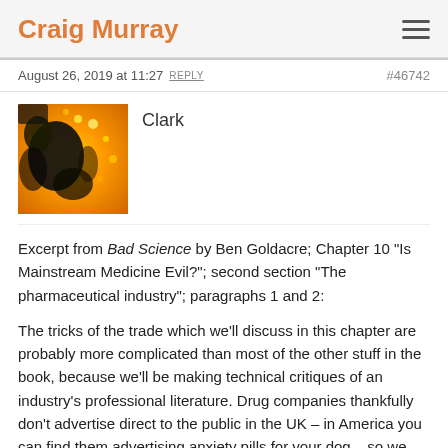Craig Murray
August 26, 2019 at 11:27 REPLY  #46742
Clark
[Figure (photo): User avatar image showing an abstract orange/yellow and black pattern resembling a face silhouette]
Excerpt from Bad Science by Ben Goldacre; Chapter 10 "Is Mainstream Medicine Evil?"; second section "The pharmaceutical industry"; paragraphs 1 and 2:
The tricks of the trade which we'll discuss in this chapter are probably more complicated than most of the other stuff in the book, because we'll be making technical critiques of an industry's professional literature. Drug companies thankfully don't advertise direct to the public in the UK – in America you can find them advertising anxiety pills for your dog – so we are pulling apart the tricks they play on doctors, an audience which is in a slightly better position to call their bluff. This means that we'll first have to